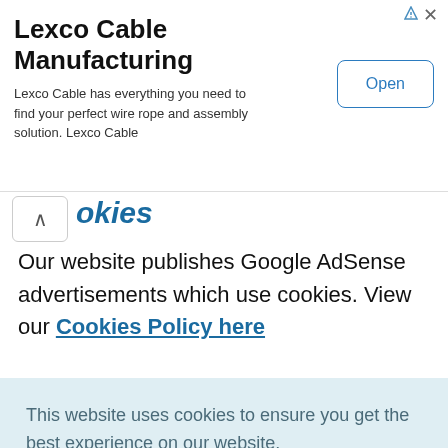[Figure (screenshot): Advertisement banner for Lexco Cable Manufacturing with Open button]
okies
Our website publishes Google AdSense advertisements which use cookies. View our Cookies Policy here
Requesting Information About the
This website uses cookies to ensure you get the best experience on our website. Cookie Policy
Got it!